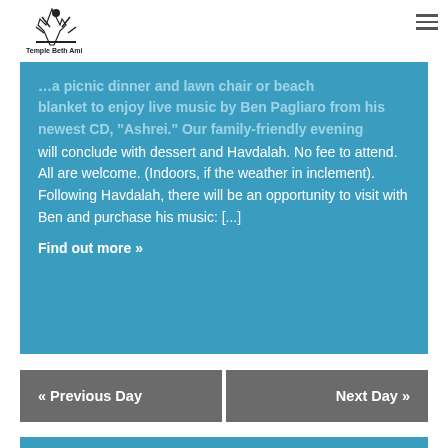Temple Beth Ami
…a picnic dinner and lawn chair or beach blanket to enjoy live music by Ben Pagliaro from his newest CD, "Ashrei." Our family-friendly evening will conclude with dessert and Havdalah. No fee to attend. All are welcome. (Indoors, if the weather in inclement). Following Havdalah, there will be an opportunity to visit with Ben and purchase his music: [...]
Find out more »
« Previous Day
Next Day »
+ EXPORT EVENTS